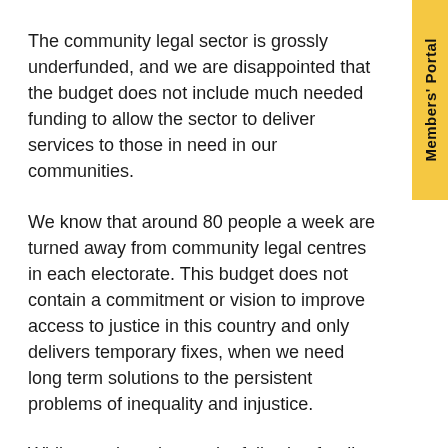The community legal sector is grossly underfunded, and we are disappointed that the budget does not include much needed funding to allow the sector to deliver services to those in need in our communities.
We know that around 80 people a week are turned away from community legal centres in each electorate. This budget does not contain a commitment or vision to improve access to justice in this country and only delivers temporary fixes, when we need long term solutions to the persistent problems of inequality and injustice.
Whilst we do welcome the following funding announcements, more clarity is needed around how this funding will be allocated before we can speak definitively about the impacts it may